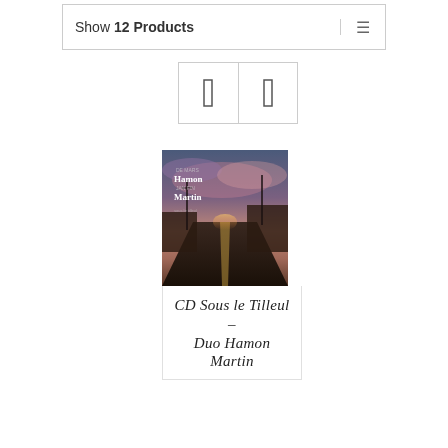Show 12 Products
[Figure (screenshot): View toggle buttons (grid/list icons)]
[Figure (photo): Album cover for 'Sous le Tilleul' by Duo Hamon Martin — twilight road scene with purple/pink sky and text overlay]
CD Sous le Tilleul – Duo Hamon Martin